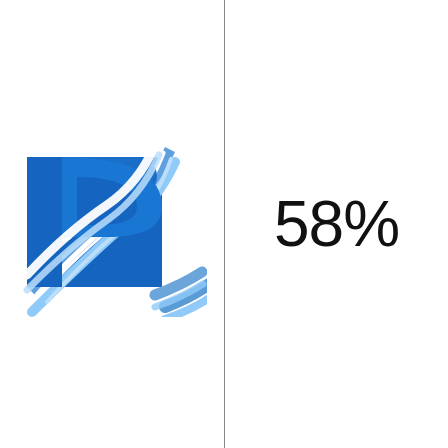[Figure (logo): Blue letter R logo with road/river curves and a sailboat icon, rendered in shades of blue]
58%